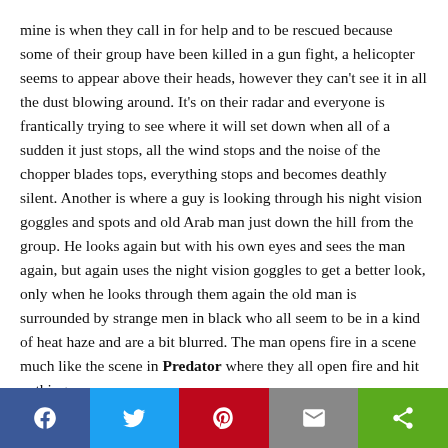mine is when they call in for help and to be rescued because some of their group have been killed in a gun fight, a helicopter seems to appear above their heads, however they can't see it in all the dust blowing around. It's on their radar and everyone is frantically trying to see where it will set down when all of a sudden it just stops, all the wind stops and the noise of the chopper blades tops, everything stops and becomes deathly silent. Another is where a guy is looking through his night vision goggles and spots and old Arab man just down the hill from the group. He looks again but with his own eyes and sees the man again, but again uses the night vision goggles to get a better look, only when he looks through them again the old man is surrounded by strange men in black who all seem to be in a kind of heat haze and are a bit blurred. The man opens fire in a scene much like the scene in Predator where they all open fire and hit nothing.
Social share bar: Facebook, Twitter, Pinterest, Email, Share